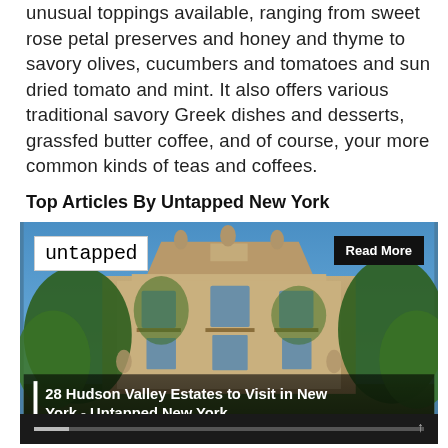unusual toppings available, ranging from sweet rose petal preserves and honey and thyme to savory olives, cucumbers and tomatoes and sun dried tomato and mint. It also offers various traditional savory Greek dishes and desserts, grassfed butter coffee, and of course, your more common kinds of teas and coffees.
Top Articles By Untapped New York
[Figure (photo): Photo of a grand stone estate building with neoclassical architecture, covered in green ivy, with a blue sky background. Overlaid with 'untapped' logo box top-left, 'Read More' button top-right, and a dark caption bar at bottom reading '28 Hudson Valley Estates to Visit in New York - Untapped New York'.]